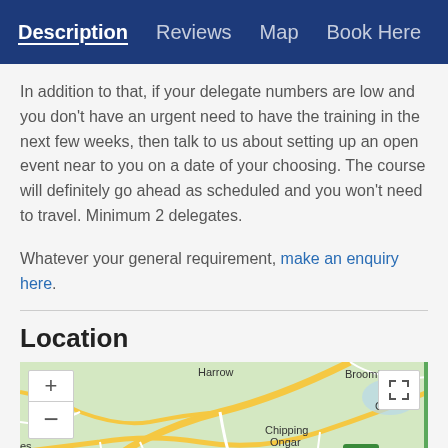Description  Reviews  Map  Book Here
In addition to that, if your delegate numbers are low and you don't have an urgent need to have the training in the next few weeks, then talk to us about setting up an open event near to you on a date of your choosing. The course will definitely go ahead as scheduled and you won't need to travel. Minimum 2 delegates.
Whatever your general requirement, make an enquiry here.
Location
[Figure (map): A map showing the area around Essex/Hertfordshire, UK, including Harrow, Broomfield, Chipping Ongar, Epping, Waltham Abbey with road labels M25, A414.]